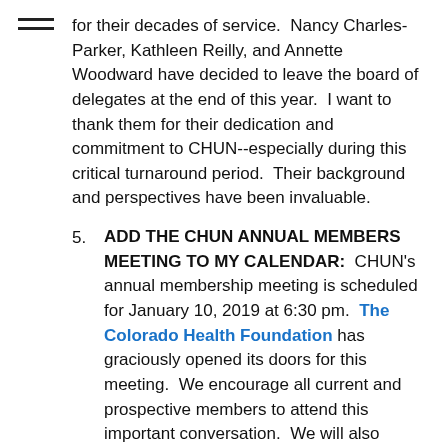[Figure (other): Hamburger menu icon (three horizontal lines) in top-left corner]
for their decades of service.  Nancy Charles-Parker, Kathleen Reilly, and Annette Woodward have decided to leave the board of delegates at the end of this year.  I want to thank them for their dedication and commitment to CHUN--especially during this critical turnaround period.  Their background and perspectives have been invaluable.
5. ADD THE CHUN ANNUAL MEMBERS MEETING TO MY CALENDAR:  CHUN's annual membership meeting is scheduled for January 10, 2019 at 6:30 pm.  The Colorado Health Foundation has graciously opened its doors for this meeting.  We encourage all current and prospective members to attend this important conversation.  We will also present our current financial position